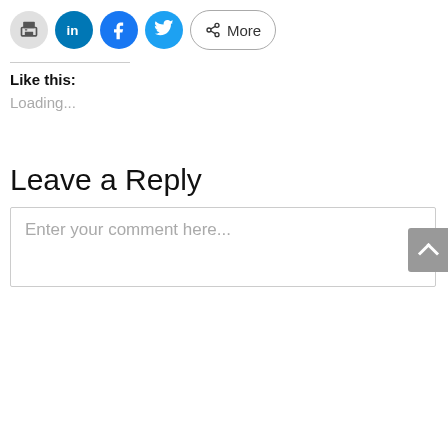[Figure (screenshot): Social sharing buttons row: print (gray circle), LinkedIn (blue circle with 'in'), Facebook (blue circle with 'f'), Twitter (cyan circle with bird), and a 'More' button with share icon]
Like this:
Loading...
Leave a Reply
Enter your comment here...